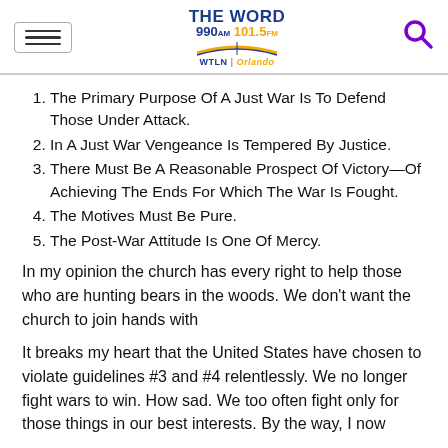THE WORD 990AM 101.5FM WTLN | Orlando
The Primary Purpose Of A Just War Is To Defend Those Under Attack.
In A Just War Vengeance Is Tempered By Justice.
There Must Be A Reasonable Prospect Of Victory—Of Achieving The Ends For Which The War Is Fought.
The Motives Must Be Pure.
The Post-War Attitude Is One Of Mercy.
In my opinion the church has every right to help those who are hunting bears in the woods. We don't want the church to join hands with
It breaks my heart that the United States have chosen to violate guidelines #3 and #4 relentlessly. We no longer fight wars to win. How sad. We too often fight only for those things in our best interests. By the way, I now